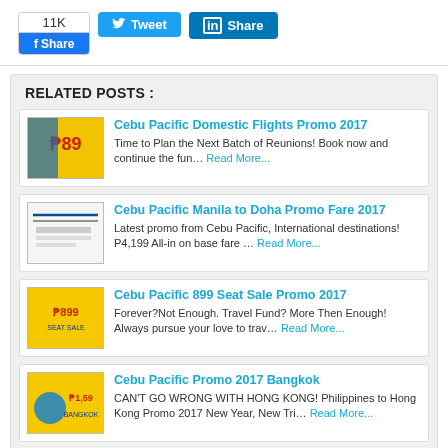[Figure (other): Social share buttons: Facebook share with 11K count, Tweet button, LinkedIn Share button]
RELATED POSTS :
[Figure (other): Thumbnail for Cebu Pacific Domestic Flights Promo 2017]
Cebu Pacific Domestic Flights Promo 2017 - Time to Plan the Next Batch of Reunions! Book now and continue the fun… Read More...
[Figure (other): Thumbnail for Cebu Pacific Manila to Doha Promo Fare 2017]
Cebu Pacific Manila to Doha Promo Fare 2017 - Latest promo from Cebu Pacific, International destinations! P4,199 All-in on base fare … Read More...
[Figure (other): Thumbnail for Cebu Pacific 899 Seat Sale Promo 2017]
Cebu Pacific 899 Seat Sale Promo 2017 - Forever?Not Enough. Travel Fund? More Then Enough! Always pursue your love to trav... Read More...
[Figure (other): Thumbnail for Cebu Pacific Promo 2017 Bangkok]
Cebu Pacific Promo 2017 Bangkok - CAN'T GO WRONG WITH HONG KONG! Philippines to Hong Kong Promo 2017 New Year, New Tri... Read More...